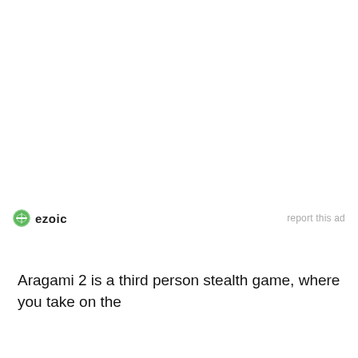[Figure (logo): Ezoic logo with green circular icon and bold 'ezoic' text, alongside a 'report this ad' link in grey]
Aragami 2 is a third person stealth game, where you take on the